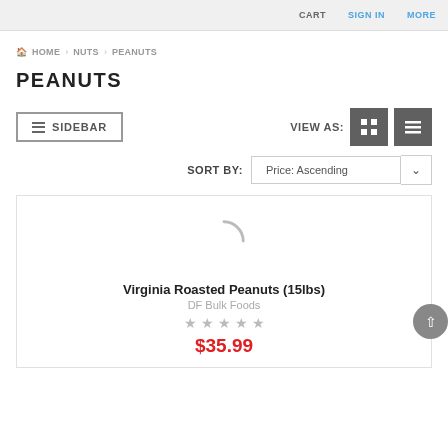CART   SIGN IN   MORE
HOME > NUTS > PEANUTS
PEANUTS
SIDEBAR   VIEW AS:
SORT BY: Price: Ascending
[Figure (other): Loading spinner arc indicating product image is loading]
Virginia Roasted Peanuts (15lbs)
DF Bulk Foods
★ ★ ★ ★ ★ (empty stars)
$35.99